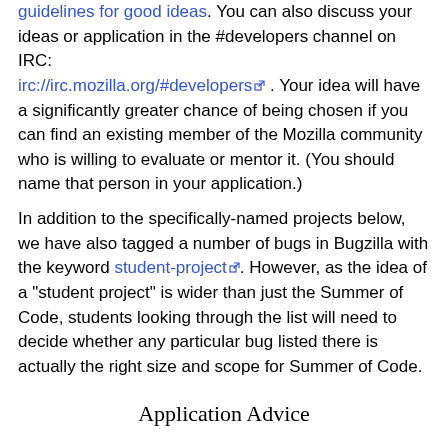guidelines for good ideas. You can also discuss your ideas or application in the #developers channel on IRC: irc://irc.mozilla.org/#developers . Your idea will have a significantly greater chance of being chosen if you can find an existing member of the Mozilla community who is willing to evaluate or mentor it. (You should name that person in your application.)
In addition to the specifically-named projects below, we have also tagged a number of bugs in Bugzilla with the keyword student-project. However, as the idea of a "student project" is wider than just the Summer of Code, students looking through the list will need to decide whether any particular bug listed there is actually the right size and scope for Summer of Code.
Application Advice